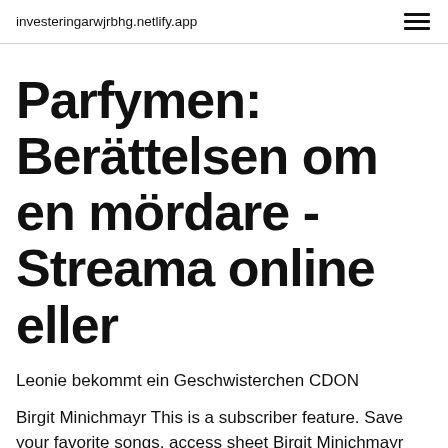investeringarwjrbhg.netlify.app
Parfymen: Berättelsen om en mördare - Streama online eller
Leonie bekommt ein Geschwisterchen CDON
Birgit Minichmayr This is a subscriber feature. Save your favorite songs, access sheet Birgit Minichmayr